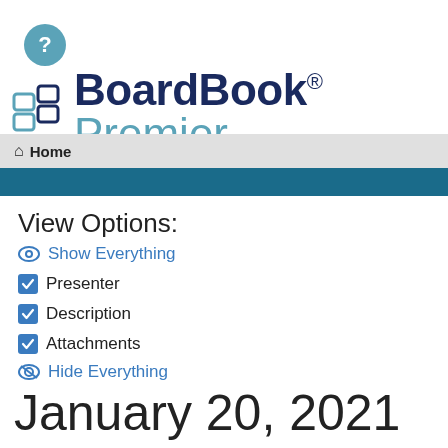[Figure (logo): Help icon - teal circle with white question mark]
[Figure (logo): BoardBook Premier logo with icon]
Home
View Options:
Show Everything
Presenter
Description
Attachments
Hide Everything
January 20, 2021 at 7:30 PM - Preliminary